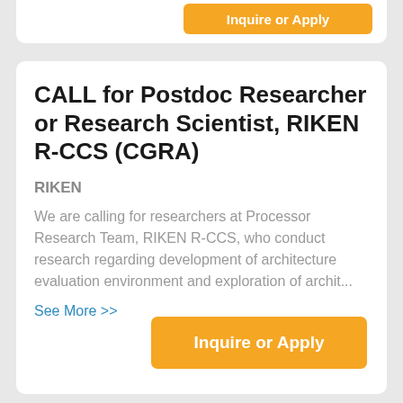CALL for Postdoc Researcher or Research Scientist, RIKEN R-CCS (CGRA)
RIKEN
We are calling for researchers at Processor Research Team, RIKEN R-CCS, who conduct research regarding development of architecture evaluation environment and exploration of archit...
See More >>